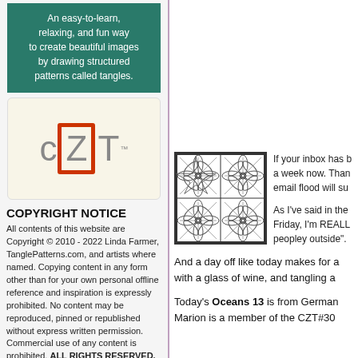[Figure (illustration): Green/teal banner with white text about Zentangle drawing method]
[Figure (logo): CZT logo with C, ZT in red square border, T, and TM mark on cream background]
COPYRIGHT NOTICE
All contents of this website are Copyright © 2010 - 2022 Linda Farmer, TanglePatterns.com, and artists where named. Copying content in any form other than for your own personal offline reference and inspiration is expressly prohibited. No content may be reproduced, pinned or republished without express written permission. Commercial use of any content is prohibited. ALL RIGHTS RESERVED.
[Figure (illustration): Artists For RESPECT banner with dark brown/gold background]
[Figure (illustration): Geometric tangle pattern in black and white showing star/flower shapes in a square grid]
If your inbox has b a week now. Than email flood will su
As I've said in the Friday, I'm REALL peopley outside".
And a day off like today makes for a with a glass of wine, and tangling a
Today's Oceans 13 is from German Marion is a member of the CZT#30